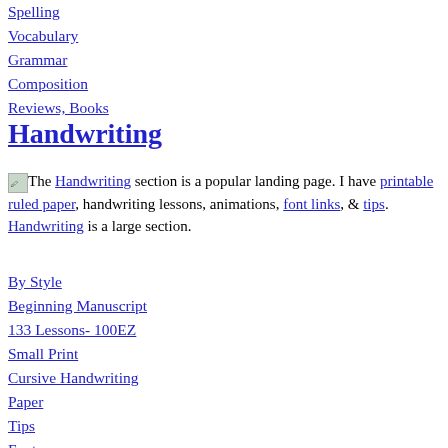Spelling
Vocabulary
Grammar
Composition
Reviews, Books
Handwriting
The Handwriting section is a popular landing page. I have printable ruled paper, handwriting lessons, animations, font links, & tips. Handwriting is a large section.
By Style
Beginning Manuscript
133 Lessons- 100EZ
Small Print
Cursive Handwriting
Paper
Tips
Fonts